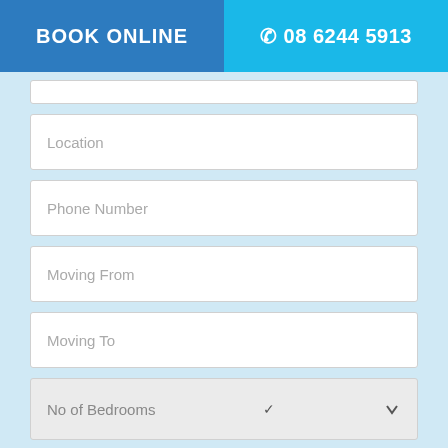BOOK ONLINE | 08 6244 5913
Location
Phone Number
Moving From
Moving To
No of Bedrooms
mm/dd/yyyy